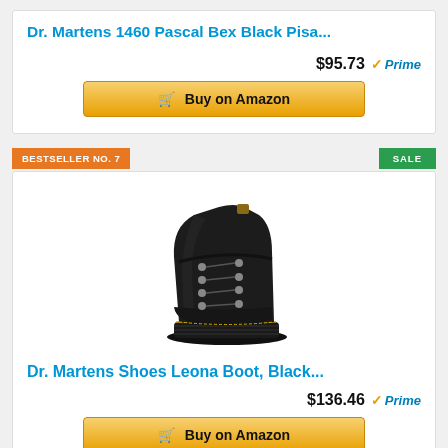Dr. Martens 1460 Pascal Bex Black Pisa...
$95.73 ✓Prime
🛒 Buy on Amazon
BESTSELLER NO. 7
SALE
[Figure (photo): Black Dr. Martens lace-up platform boot (Leona Boot) shown at an angle on white background]
Dr. Martens Shoes Leona Boot, Black...
$136.46 ✓Prime
🛒 Buy on Amazon